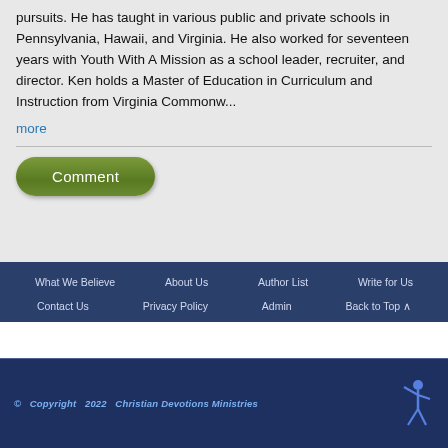pursuits. He has taught in various public and private schools in Pennsylvania, Hawaii, and Virginia. He also worked for seventeen years with Youth With A Mission as a school leader, recruiter, and director. Ken holds a Master of Education in Curriculum and Instruction from Virginia Commonw...
more
Comment
What We Believe | About Us | Author List | Write for Us | Contact Us | Privacy Policy | Admin | Back to Top ^
© Copyright 2022 Christian Devotions Ministries